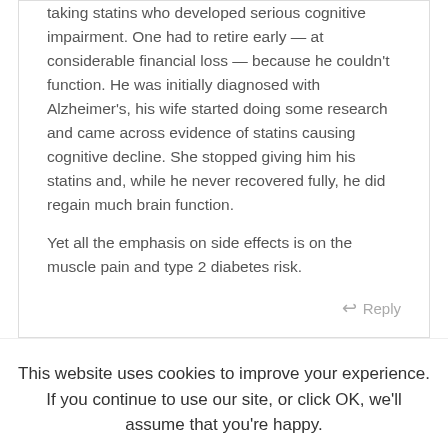taking statins who developed serious cognitive impairment. One had to retire early — at considerable financial loss — because he couldn't function. He was initially diagnosed with Alzheimer's, his wife started doing some research and came across evidence of statins causing cognitive decline. She stopped giving him his statins and, while he never recovered fully, he did regain much brain function.
Yet all the emphasis on side effects is on the muscle pain and type 2 diabetes risk.
Reply
This website uses cookies to improve your experience. If you continue to use our site, or click OK, we'll assume that you're happy.